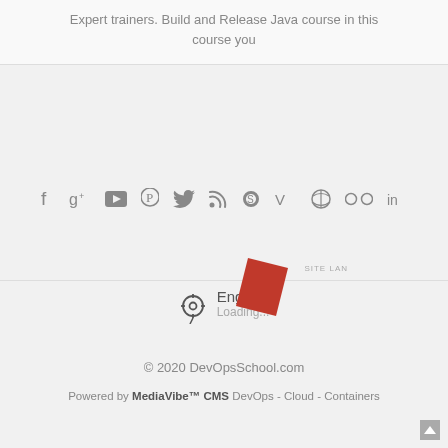Expert trainers. Build and Release Java course in this course you
[Figure (infographic): Social media icons row: facebook, google+, youtube, pinterest, twitter, rss, skype, vimeo, dribbble, flickr, linkedin]
SITE LANGUAGE
[Figure (illustration): Red parallelogram/flag shape overlapping the language selector area]
English
Loading...
© 2020 DevOpsSchool.com
Powered by MediaVibe™ CMS DevOps - Cloud - Containers